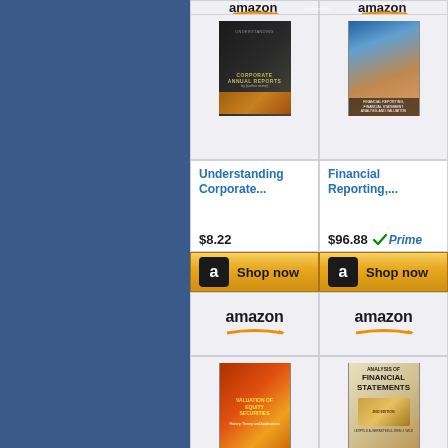[Figure (screenshot): Amazon product listing grid showing four books: Understanding Corporate Annual Reports ($8.22), Financial Reporting ($96.88, Prime), Valuation of Equity Securities ($59.95, Prime), Analysis of Financial Statements ($38.53). Each has a book cover image, title link in blue, price, optional Prime badge, and a gold 'Shop now' button with Amazon logo. Left side shows dark blue background panel.]